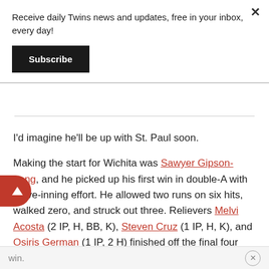Receive daily Twins news and updates, free in your inbox, every day!
Subscribe
I'd imagine he'll be up with St. Paul soon.
Making the start for Wichita was Sawyer Gipson-Long, and he picked up his first win in double-A with a five-inning effort. He allowed two runs on six hits, walked zero, and struck out three. Relievers Melvi Acosta (2 IP, H, BB, K), Steven Cruz (1 IP, H, K), and Osiris German (1 IP, 2 H) finished off the final four scoreless innings in the 9-2 win.